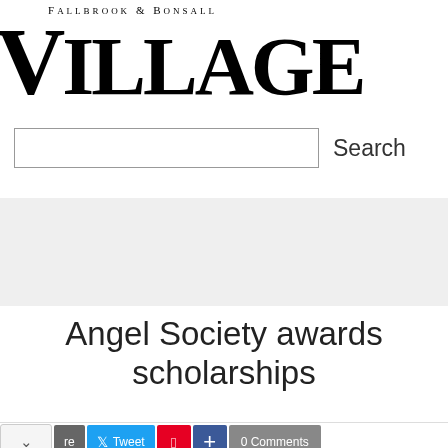Fallbrook & Bonsall Village News
[Figure (other): Search input box with Search button]
[Figure (other): Gray advertisement band]
Angel Society awards scholarships
[Figure (other): Social sharing bar with chevron, Share, Tweet, Pinterest, plus, and 0 Comments buttons]